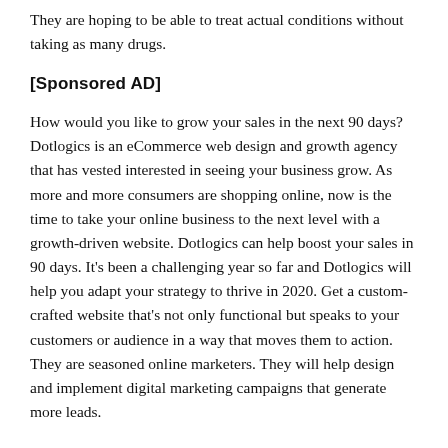They are hoping to be able to treat actual conditions without taking as many drugs.
[Sponsored AD]
How would you like to grow your sales in the next 90 days? Dotlogics is an eCommerce web design and growth agency that has vested interested in seeing your business grow. As more and more consumers are shopping online, now is the time to take your online business to the next level with a growth-driven website. Dotlogics can help boost your sales in 90 days. It's been a challenging year so far and Dotlogics will help you adapt your strategy to thrive in 2020. Get a custom-crafted website that's not only functional but speaks to your customers or audience in a way that moves them to action. They are seasoned online marketers. They will help design and implement digital marketing campaigns that generate more leads.